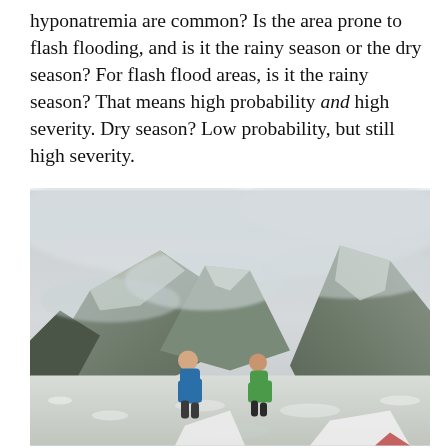hyponatremia are common? Is the area prone to flash flooding, and is it the rainy season or the dry season? For flash flood areas, is it the rainy season? That means high probability and high severity. Dry season? Low probability, but still high severity.
[Figure (photo): Two people standing on a snowy, hail-covered mountain pass surrounded by misty, snow-dusted peaks. One person wears a blue hoodie, the other a green jacket. The sky is overcast with low clouds wrapping around the mountains.]